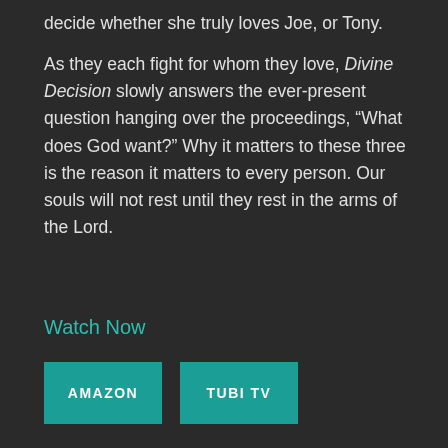decide whether she truly loves Joe, or Tony.
As they each fight for whom they love, Divine Decision slowly answers the ever-present question hanging over the proceedings, “What does God want?” Why it matters to these three is the reason it matters to every person. Our souls will not rest until they rest in the arms of the Lord.
Watch Now
AMAZON
TUBI TV